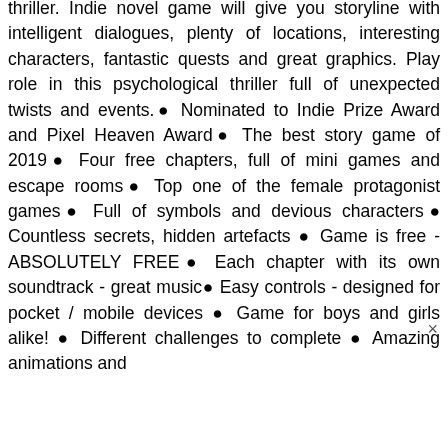thriller. Indie novel game will give you storyline with intelligent dialogues, plenty of locations, interesting characters, fantastic quests and great graphics. Play role in this psychological thriller full of unexpected twists and events.● Nominated to Indie Prize Award and Pixel Heaven Award● The best story game of 2019● Four free chapters, full of mini games and escape rooms● Top one of the female protagonist games● Full of symbols and devious characters● Countless secrets, hidden artefacts ● Game is free - ABSOLUTELY FREE● Each chapter with its own soundtrack - great music● Easy controls - designed for pocket / mobile devices ● Game for boys and girls alike! ● Different challenges to complete ● Amazing animations and